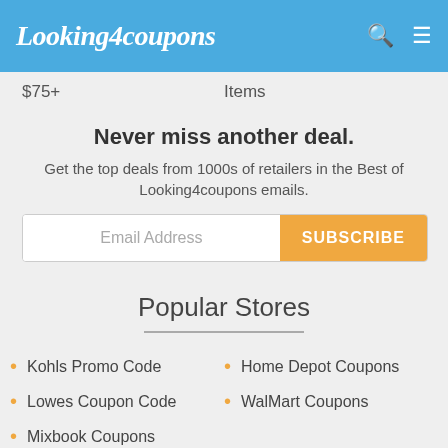Looking4coupons
$75+
Items
Never miss another deal.
Get the top deals from 1000s of retailers in the Best of Looking4coupons emails.
Popular Stores
Kohls Promo Code
Lowes Coupon Code
Mixbook Coupons
Home Depot Coupons
WalMart Coupons
Top categories